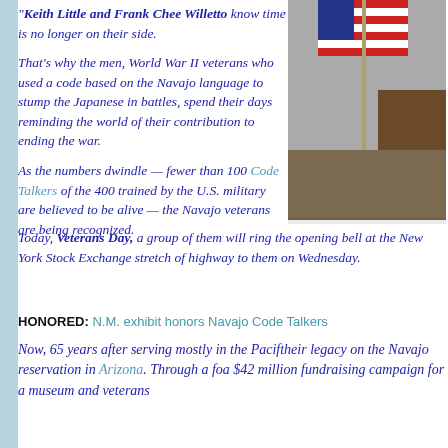“Keith Little and Frank Chee Willetto know time is no longer on their side.
[Figure (photo): Photo of an American flag on a stand in what appears to be an indoor setting with wooden furniture]
That’s why the men, World War II veterans who used a code based on the Navajo language to stump the Japanese in battles, spend their days reminding the world of their contribution to ending the war.
As the numbers dwindle — fewer than 100 Code Talkers of the 400 trained by the U.S. military are believed to be alive — the Navajo veterans are being recognized.
Today, Veterans Day, a group of them will ring the opening bell at the New York Stock Exchange stretch of highway to them on Wednesday.
HONORED: N.M. exhibit honors Navajo Code Talkers
Now, 65 years after serving mostly in the Paci… their legacy on the Navajo reservation in Arizona. Through a fo… a $42 million fundraising campaign for a museum and veterans…